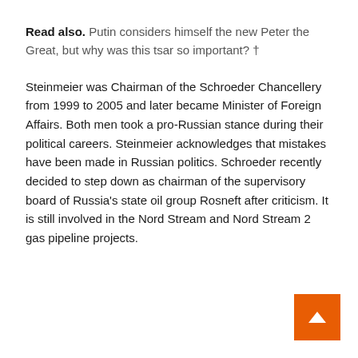Read also. Putin considers himself the new Peter the Great, but why was this tsar so important? †
Steinmeier was Chairman of the Schroeder Chancellery from 1999 to 2005 and later became Minister of Foreign Affairs. Both men took a pro-Russian stance during their political careers. Steinmeier acknowledges that mistakes have been made in Russian politics. Schroeder recently decided to step down as chairman of the supervisory board of Russia's state oil group Rosneft after criticism. It is still involved in the Nord Stream and Nord Stream 2 gas pipeline projects.
[Figure (other): Orange square button with white upward-pointing arrow (back-to-top button), positioned at bottom-right corner.]